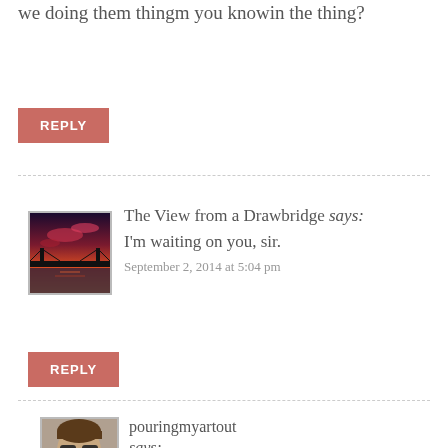we doing them thingm you knowin the thing?
REPLY
The View from a Drawbridge says: I'm waiting on you, sir.
September 2, 2014 at 5:04 pm
REPLY
pouringmyartout says: Okay… first thing in